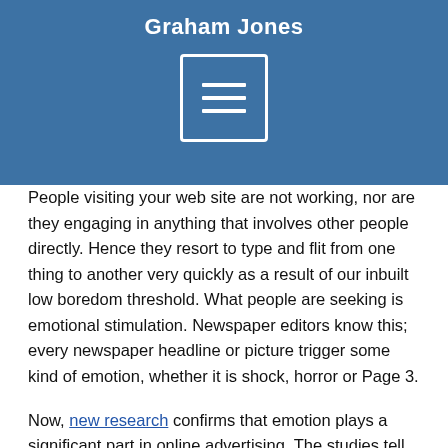Graham Jones
[Figure (other): Menu hamburger icon in white outline box on blue background]
People visiting your web site are not working, nor are they engaging in anything that involves other people directly. Hence they resort to type and flit from one thing to another very quickly as a result of our inbuilt low boredom threshold. What people are seeking is emotional stimulation. Newspaper editors know this; every newspaper headline or picture trigger some kind of emotion, whether it is shock, horror or Page 3.
Now, new research confirms that emotion plays a significant part in online advertising. The studies tell us that emotional stimulation helps advertisers work their magic on us. Combined with existing research which shows your web site reader's eyes flit around the page, constantly seeking stimulation – and the fact they don't stay on sites for very long – it's clear what you need to provide.
Web sites need a constantly changing feast of emotionally